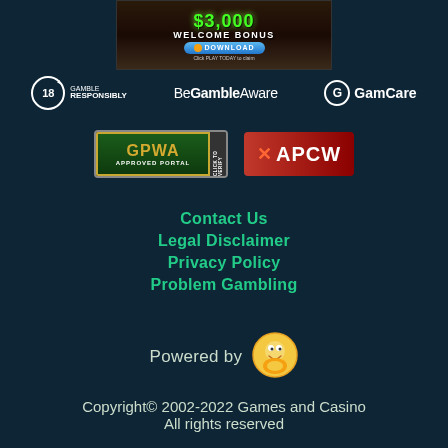[Figure (screenshot): Casino welcome bonus banner with green dollar amount text, WELCOME BONUS heading, blue DOWNLOAD button, and 'Click PLAY TODAY to claim' text]
[Figure (logo): 18+ Gamble Responsibly logo with circle 18+ icon and text GAMBLE RESPONSIBLY]
[Figure (logo): BeGambleAware logo in white text]
[Figure (logo): GamCare logo with G circle icon and GamCare text]
[Figure (logo): GPWA Approved Portal badge with Click to Verify tab]
[Figure (logo): APCW red badge logo]
Contact Us
Legal Disclaimer
Privacy Policy
Problem Gambling
Powered by
[Figure (illustration): Cartoon character icon (happy face mascot)]
Copyright© 2002-2022 Games and Casino
All rights reserved